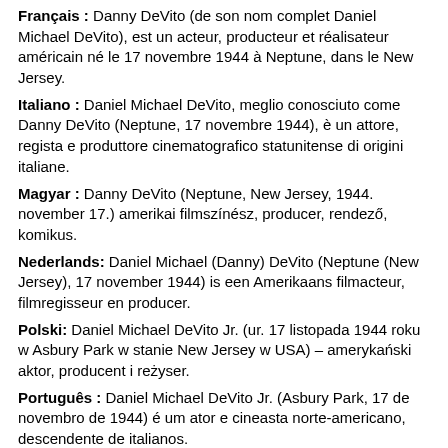Français : Danny DeVito (de son nom complet Daniel Michael DeVito), est un acteur, producteur et réalisateur américain né le 17 novembre 1944 à Neptune, dans le New Jersey.
Italiano : Daniel Michael DeVito, meglio conosciuto come Danny DeVito (Neptune, 17 novembre 1944), è un attore, regista e produttore cinematografico statunitense di origini italiane.
Magyar : Danny DeVito (Neptune, New Jersey, 1944. november 17.) amerikai filmszínész, producer, rendező, komikus.
Nederlands: Daniel Michael (Danny) DeVito (Neptune (New Jersey), 17 november 1944) is een Amerikaans filmacteur, filmregisseur en producer.
Polski: Daniel Michael DeVito Jr. (ur. 17 listopada 1944 roku w Asbury Park w stanie New Jersey w USA) – amerykański aktor, producent i reżyser.
Português : Daniel Michael DeVito Jr. (Asbury Park, 17 de novembro de 1944) é um ator e cineasta norte-americano, descendente de italianos.
Suomi: Danny DeVito (oik. Daniel Michael DeVito, s. 17. marraskuuta 1944 Neptune New Jersey) on yhdysvaltalainen näyttelijä, ohjaaja ja tuottaja.